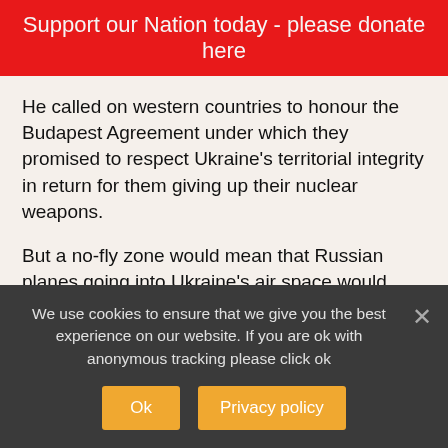Support our Nation today - please donate here
He called on western countries to honour the Budapest Agreement under which they promised to respect Ukraine’s territorial integrity in return for them giving up their nuclear weapons.
But a no-fly zone would mean that Russian planes going into Ukraine’s air space would need to be shot down by other countries, which could be interpreted as a declaration of war by nuclear-armed Russia.
“In the light of direct attacks by Russia on the
We use cookies to ensure that we give you the best experience on our website. If you are ok with anonymous tracking please click ok
Ok
Privacy policy